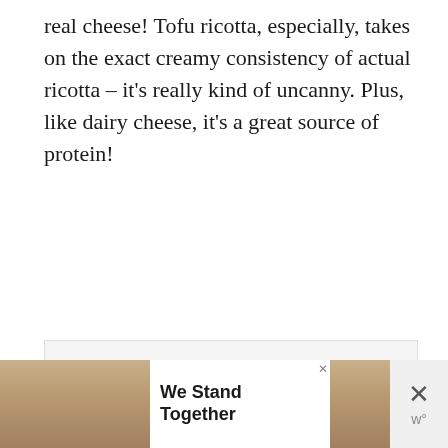real cheese! Tofu ricotta, especially, takes on the exact creamy consistency of actual ricotta – it's really kind of uncanny. Plus, like dairy cheese, it's a great source of protein!
[Figure (other): A gray placeholder box with three gray dots centered near the bottom, representing an ad or content loading area.]
[Figure (other): An advertisement banner at the bottom of the page. Shows a group of people with arms around each other on the left, text 'We Stand Together' in bold on the right side, with a small X close button above the text and a larger X close button on the far right with a W logo below it.]